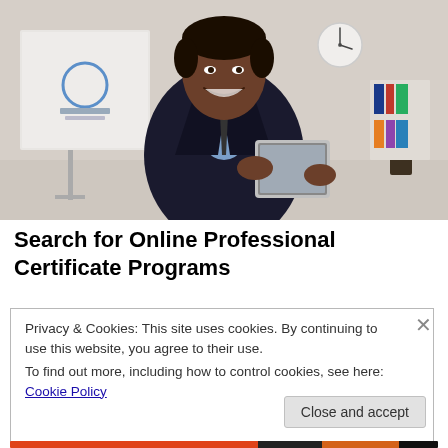[Figure (photo): Professional young Black man in a dark suit smiling and holding a tablet, standing in a modern office with a whiteboard and shelves in the background]
Search for Online Professional Certificate Programs
Privacy & Cookies: This site uses cookies. By continuing to use this website, you agree to their use.
To find out more, including how to control cookies, see here: Cookie Policy